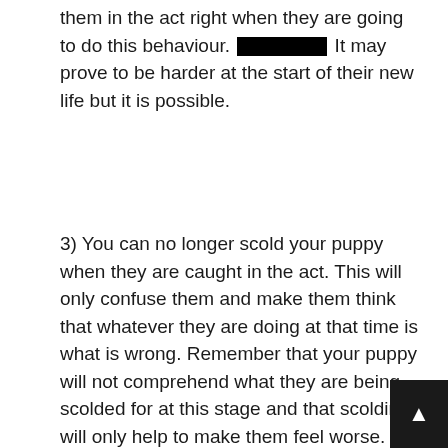them in the act right when they are going to do this behaviour. [REDACTED] It may prove to be harder at the start of their new life but it is possible.
3) You can no longer scold your puppy when they are caught in the act. This will only confuse them and make them think that whatever they are doing at that time is what is wrong. Remember that your puppy will not comprehend what they are being scolded for at this stage and that scolding will only help to make them feel worse.
4) You must take away any food or treats gradually to a time where they don't feel the need to chew on them. However you must ensure that you always have appropriate toys available. This may also include other toys...